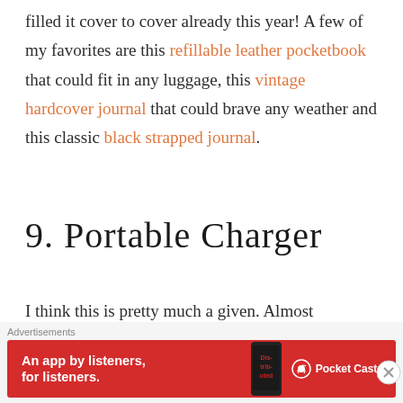filled it cover to cover already this year! A few of my favorites are this refillable leather pocketbook that could fit in any luggage, this vintage hardcover journal that could brave any weather and this classic black strapped journal.
9. PORTABLE CHARGER
I think this is pretty much a given. Almost everyone has a phone these days and uses it to get from one place to the next, stay in contact
[Figure (screenshot): Advertisement banner for Pocket Casts app — red background with white text 'An app by listeners, for listeners.' and Pocket Casts logo, with phone graphic showing 'Distributed' text]